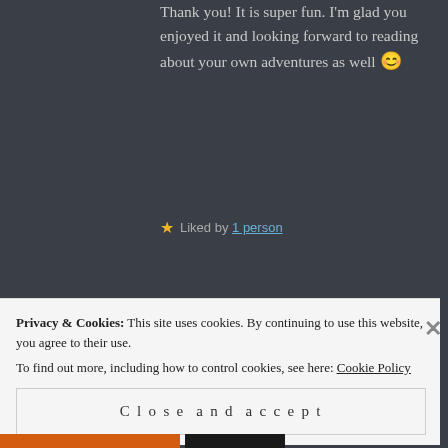Thank you! It is super fun. I'm glad you enjoyed it and looking forward to reading about your own adventures as well 😊
★ Liked by 1 person
FELICIA DENISE says:
June 16, 2017 at 12:59 am
Such a great beach! Use to annoy me
Privacy & Cookies: This site uses cookies. By continuing to use this website, you agree to their use.
To find out more, including how to control cookies, see here: Cookie Policy
Close and accept